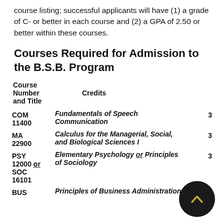course listing; successful applicants will have (1) a grade of C- or better in each course and (2) a GPA of 2.50 or better within these courses.
Courses Required for Admission to the B.S.B. Program
| Course Number and Title | Credits |
| --- | --- |
| COM 11400 | Fundamentals of Speech Communication | 3 |
| MA 22900 | Calculus for the Managerial, Social, and Biological Sciences I | 3 |
| PSY 12000 or SOC 16101 | Elementary Psychology or Principles of Sociology | 3 |
| BUS | Principles of Business Administration | 3 |